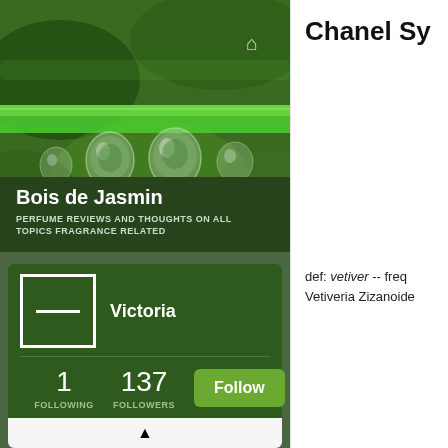[Figure (photo): Close-up photo of a green stem with water droplets hanging from it, blurred green background]
Bois de Jasmin
PERFUME REVIEWS AND THOUGHTS ON ALL TOPICS FRAGRANCE RELATED
Victoria
1 FOLLOWING
137 FOLLOWERS
Follow
Chanel Sy
def: vetiver -- freq Vetiveria Zizanoide